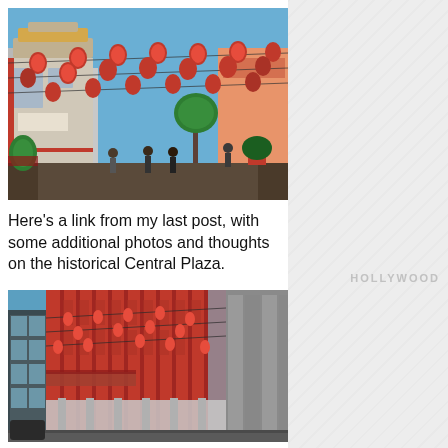[Figure (photo): Chinatown Central Plaza pedestrian street with red lanterns strung overhead between buildings, people walking, blue sky, traditional Chinese gate architecture visible]
Here's a link from my last post, with some additional photos and thoughts on the historical Central Plaza.
[Figure (photo): Modern red and glass multi-story building in Chinatown with red lanterns strung on wires overhead, pedestrian walkway below, bridge connecting buildings, blue sky]